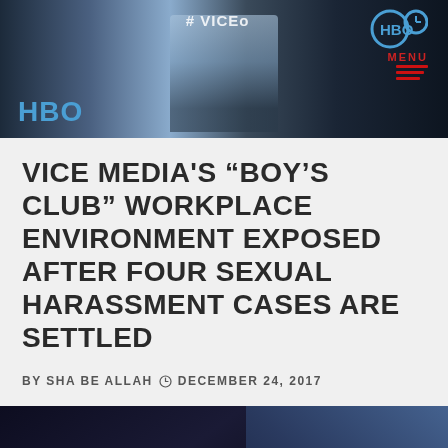[Figure (photo): Top photo showing a man in a suit at an HBO event with #VICEon hashtag visible, HBO logos on left and right sides]
VICE MEDIA'S “BOY’S CLUB” WORKPLACE ENVIRONMENT EXPOSED AFTER FOUR SEXUAL HARASSMENT CASES ARE SETTLED
BY SHA BE ALLAH  ○ DECEMBER 24, 2017
[Figure (photo): Bottom photo showing a Black man with a shaved head looking to the side, dark blue/purple stage lighting background]